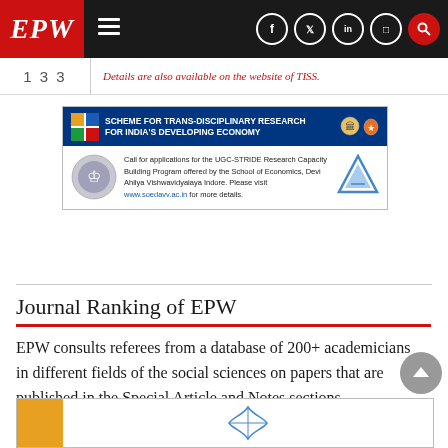EPW
[Figure (screenshot): Sub-banner with page number 133 and text: Details are also available on the website of TISS.]
[Figure (illustration): Advertisement for Scheme for Trans-Disciplinary Research for India's Developing Economy (STRIDE), UGC. Call for applications for the UGC-STRIDE Research Capacity Building Program offered by the School of Economics, Devi Ahilya Vishwavidyalaya Indore. Visit www.soedavv.ac.in for more details.]
Journal Ranking of EPW
EPW consults referees from a database of 200+ academicians in different fields of the social sciences on papers that are published in the Special Article and Notes sections.
Click here for summary statistics of EPW's rank among journals in India, Asia, and the world.
[Figure (illustration): Bottom advertisement banner, partially visible with orange left strip and a decorative emblem.]